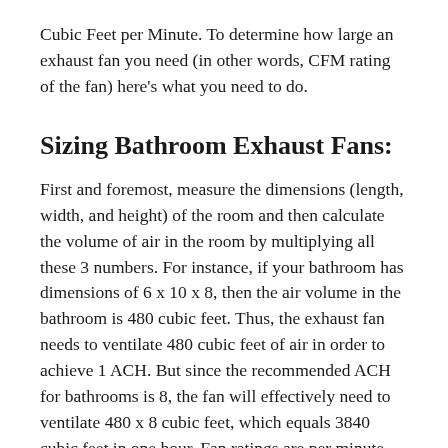Cubic Feet per Minute. To determine how large an exhaust fan you need (in other words, CFM rating of the fan) here's what you need to do.
Sizing Bathroom Exhaust Fans:
First and foremost, measure the dimensions (length, width, and height) of the room and then calculate the volume of air in the room by multiplying all these 3 numbers. For instance, if your bathroom has dimensions of 6 x 10 x 8, then the air volume in the bathroom is 480 cubic feet. Thus, the exhaust fan needs to ventilate 480 cubic feet of air in order to achieve 1 ACH. But since the recommended ACH for bathrooms is 8, the fan will effectively need to ventilate 480 x 8 cubic feet, which equals 3840 cubic feet in one hour. Fan ratings are per minute, thus by